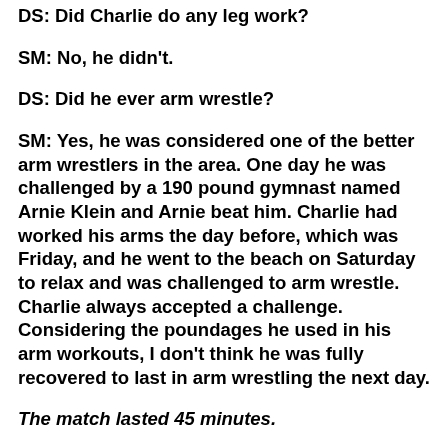DS: Did Charlie do any leg work?
SM: No, he didn't.
DS: Did he ever arm wrestle?
SM: Yes, he was considered one of the better arm wrestlers in the area. One day he was challenged by a 190 pound gymnast named Arnie Klein and Arnie beat him. Charlie had worked his arms the day before, which was Friday, and he went to the beach on Saturday to relax and was challenged to arm wrestle. Charlie always accepted a challenge. Considering the poundages he used in his arm workouts, I don't think he was fully recovered to last in arm wrestling the next day.
The match lasted 45 minutes.
Charlie said Arnie was good and he would not